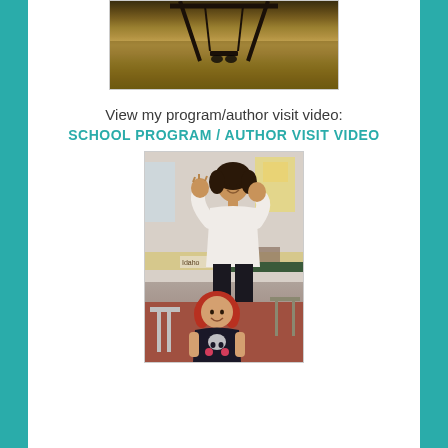[Figure (photo): Sepia-toned outdoor photo showing the bottom of a swing set with grass underneath, shoes visible on the swing]
View my program/author visit video:
SCHOOL PROGRAM / AUTHOR VISIT VIDEO
[Figure (photo): Color photo of a woman (author) with dark curly hair, wearing a white top, clapping or gesturing with hands raised while smiling, standing in a classroom. In the foreground, a young girl with red hair wearing a dark t-shirt with a design on it is visible, also smiling.]